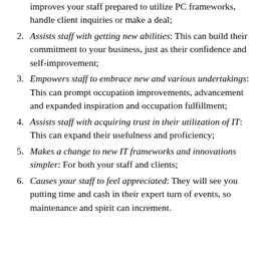improves your staff prepared to utilize PC frameworks, handle client inquiries or make a deal;
Assists staff with getting new abilities: This can build their commitment to your business, just as their confidence and self-improvement;
Empowers staff to embrace new and various undertakings: This can prompt occupation improvements, advancement and expanded inspiration and occupation fulfillment;
Assists staff with acquiring trust in their utilization of IT: This can expand their usefulness and proficiency;
Makes a change to new IT frameworks and innovations simpler: For both your staff and clients;
Causes your staff to feel appreciated: They will see you putting time and cash in their expert turn of events, so maintenance and spirit can increment.